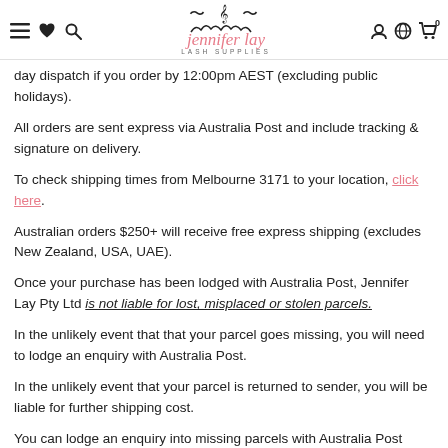Jennifer Lay Lash Supplies — navigation header
day dispatch if you order by 12:00pm AEST (excluding public holidays).
All orders are sent express via Australia Post and include tracking & signature on delivery.
To check shipping times from Melbourne 3171 to your location, click here.
Australian orders $250+ will receive free express shipping (excludes New Zealand, USA, UAE).
Once your purchase has been lodged with Australia Post, Jennifer Lay Pty Ltd is not liable for lost, misplaced or stolen parcels.
In the unlikely event that that your parcel goes missing, you will need to lodge an enquiry with Australia Post.
In the unlikely event that your parcel is returned to sender, you will be liable for further shipping cost.
You can lodge an enquiry into missing parcels with Australia Post here.